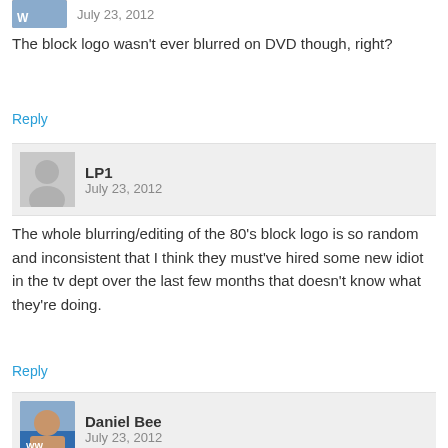July 23, 2012
The block logo wasn't ever blurred on DVD though, right?
Reply
LP1
July 23, 2012
The whole blurring/editing of the 80's block logo is so random and inconsistent that I think they must've hired some new idiot in the tv dept over the last few months that doesn't know what they're doing.
Reply
Daniel Bee
July 23, 2012
Ha, could be that. Who knows, might be something going on which is preventing them from showing it on TV and 'web TV'. Coincidence it's occurring 10 years later?